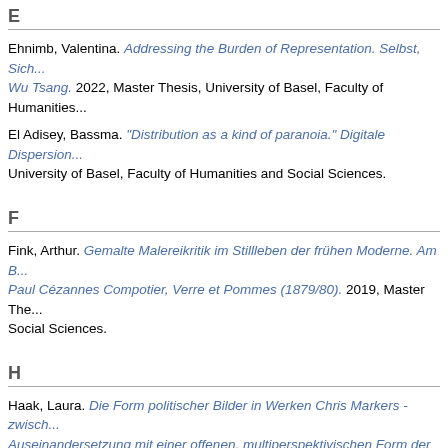E
Ehnimb, Valentina. Addressing the Burden of Representation. Selbst, Sich... Wu Tsang. 2022, Master Thesis, University of Basel, Faculty of Humanities...
El Adisey, Bassma. "Distribution as a kind of paranoia." Digitale Dispersion... University of Basel, Faculty of Humanities and Social Sciences.
F
Fink, Arthur. Gemalte Malereikritik im Stillleben der frühen Moderne. Am B... Paul Cézannes Compotier, Verre et Pommes (1879/80). 2019, Master The... Social Sciences.
H
Haak, Laura. Die Form politischer Bilder in Werken Chris Markers - zwisch... Auseinandersetzung mit einer offenen, multiperspektivischen Form der Bil... Thesis, University of Basel, Faculty of Humanities and Social Sciences.
J
Jörg, Carla. Emmy Hennings. Performativität als Strategie des Subjekts. 2... Humanities and Social Sciences.
L